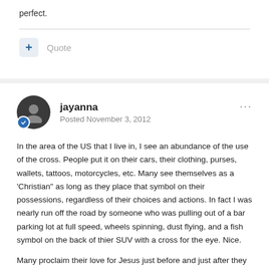perfect.
Quote
jayanna
Posted November 3, 2012
In the area of the US that I live in, I see an abundance of the use of the cross. People put it on their cars, their clothing, purses, wallets, tattoos, motorcycles, etc. Many see themselves as a 'Christian" as long as they place that symbol on their possessions, regardless of their choices and actions. In fact I was nearly run off the road by someone who was pulling out of a bar parking lot at full speed, wheels spinning, dust flying, and a fish symbol on the back of thier SUV with a cross for the eye. Nice.

Many proclaim their love for Jesus just before and just after they do something horrendous. How do we prove that love?